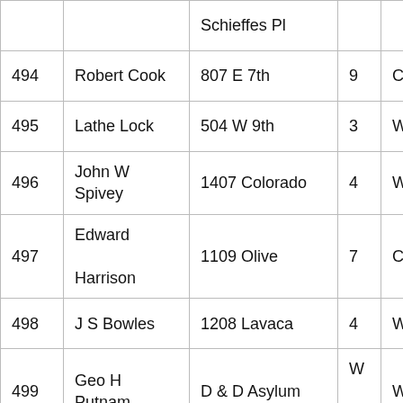| # | Name | Address | Ward |  |
| --- | --- | --- | --- | --- |
|  |  | Schieffes Pl |  |  |
| 494 | Robert Cook | 807 E 7th | 9 | C |
| 495 | Lathe Lock | 504 W 9th | 3 | W |
| 496 | John W Spivey | 1407 Colorado | 4 | W |
| 497 | Edward Harrison | 1109 Olive | 7 | C |
| 498 | J S Bowles | 1208 Lavaca | 4 | W |
| 499 | Geo H Putnam | D & D Asylum | W 11 | W |
| 500 | T A Black | 309 E 1st | 10 | C |
| 501 | Jno W Maddex | Blanco near W 9th | 2 | W |